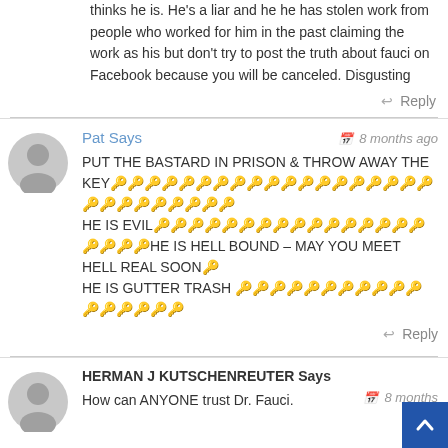thinks he is. He's a liar and he he has stolen work from people who worked for him in the past claiming the work as his but don't try to post the truth about fauci on Facebook because you will be canceled. Disgusting
↩ Reply
Pat Says
8 months ago
PUT THE BASTARD IN PRISON & THROW AWAY THE KEY🔑🔑🔑🔑🔑🔑🔑🔑🔑🔑🔑🔑🔑🔑🔑🔑🔑🔑🔑🔑🔑🔑🔑🔑🔑🔑🔑🔑HE IS EVIL🔑🔑🔑🔑🔑🔑🔑🔑🔑🔑🔑🔑🔑🔑🔑🔑🔑🔑🔑🔑HE IS HELL BOUND – MAY YOU MEET HELL REAL SOON🔑HE IS GUTTER TRASH 🔑🔑🔑🔑🔑🔑🔑🔑🔑🔑🔑🔑🔑🔑🔑🔑🔑
↩ Reply
HERMAN J KUTSCHENREUTER Says
8 months
How can ANYONE trust Dr. Fauci.